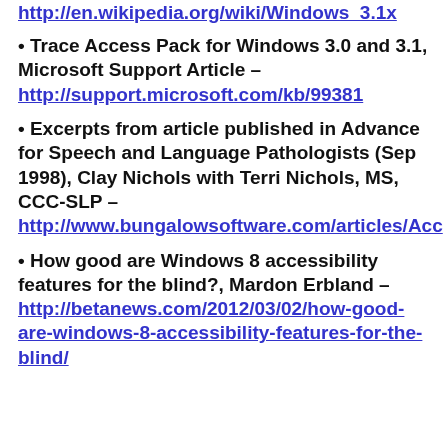http://en.wikipedia.org/wiki/Windows_3.1x
• Trace Access Pack for Windows 3.0 and 3.1, Microsoft Support Article – http://support.microsoft.com/kb/99381
• Excerpts from article published in Advance for Speech and Language Pathologists (Sep 1998), Clay Nichols with Terri Nichols, MS, CCC-SLP – http://www.bungalowsoftware.com/articles/Acc
• How good are Windows 8 accessibility features for the blind?, Mardon Erbland – http://betanews.com/2012/03/02/how-good-are-windows-8-accessibility-features-for-the-blind/